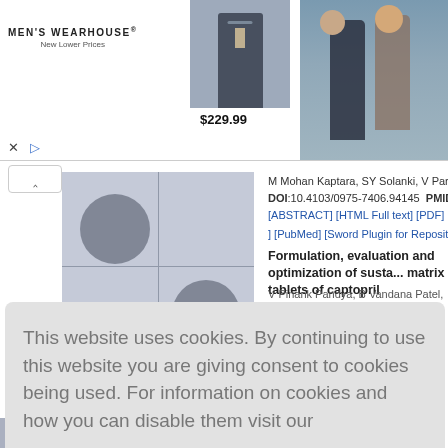[Figure (screenshot): Men's Wearhouse advertisement banner with logo text 'MEN'S WEARHOUSE New Lower Prices', a suit image, price tag '$229.99', and a couple photo. Close (X) and play button icons visible.]
[Figure (photo): Microscopy image thumbnail showing two dark circular dots on light background with grid lines]
M Mohan Kaptara, SY Solanki, V Parnar, MW Mosar, SS Pan...
DOI:10.4103/0975-7406.94145  PMID:23066214
[ABSTRACT] [HTML Full text] [PDF] [Mobile Full text] [EPub...]
] [PubMed] [Sword Plugin for Repository]Beta
Formulation, evaluation and optimization of susta... matrix tablets of captopril
V Pinank Pandya, B Vandana Patel, Prajesh Patel
This website uses cookies. By continuing to use this website you are giving consent to cookies being used. For information on cookies and how you can disable them visit our
Privacy and Cookie Policy.
AGREE & PROCEED
...ory]Beta
...elease ma... drophobic...
...l text] [EPub...
...rcumin loa... n
B Mikesh Patel, Surivanaravan Mandal, KS Rajesh